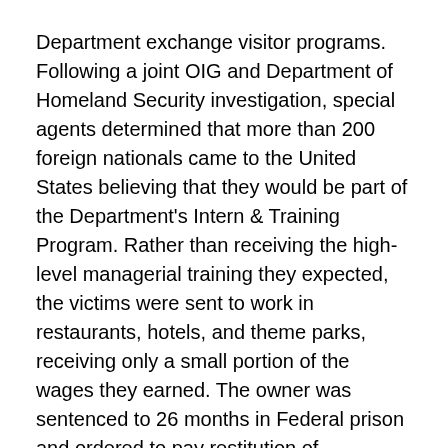Department exchange visitor programs. Following a joint OIG and Department of Homeland Security investigation, special agents determined that more than 200 foreign nationals came to the United States believing that they would be part of the Department's Intern & Training Program. Rather than receiving the high-level managerial training they expected, the victims were sent to work in restaurants, hotels, and theme parks, receiving only a small portion of the wages they earned. The owner was sentenced to 26 months in Federal prison and ordered to pay restitution of $815,570. His wife was ordered to pay restitution of $815,570, his daughter was ordered to pay restitution of $271,856, and both were sentenced to 5 years of probation.
In February 2017, following a grand jury indictment in 2016, a Federal jury convicted two co-conspirators on multiple counts, including conspiracy to defraud the